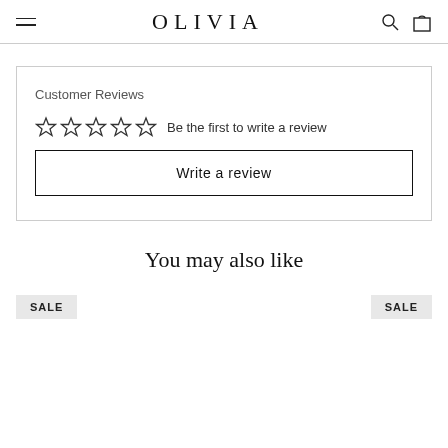OLIVIA
Customer Reviews
Be the first to write a review
Write a review
You may also like
SALE
SALE